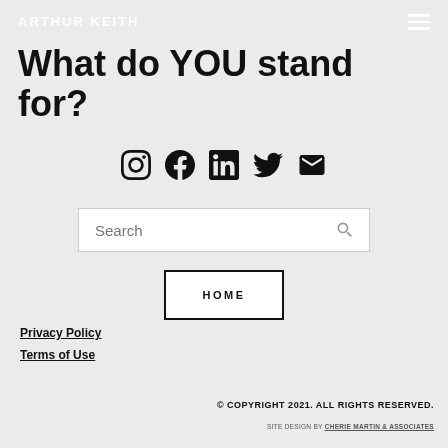ARTHUR KEITH
What do YOU stand for?
[Figure (infographic): Social media icons row: Instagram, Facebook, LinkedIn, Twitter, Email]
[Figure (screenshot): Search bar with placeholder text 'Search' and magnifying glass icon]
HOME
Privacy Policy
Terms of Use
© COPYRIGHT 2021. ALL RIGHTS RESERVED.
SITE DESIGN BY CHERIE MARTIN & ASSOCIATES